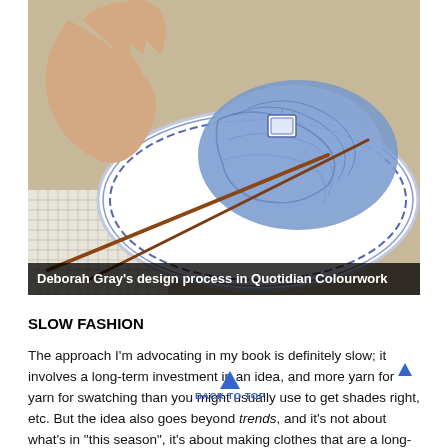[Figure (photo): Photo of a hand holding a small knitting needle or tool, working with blue yarn on a decorative blue-and-white plate. Knitting needles visible. Background includes graph paper. Caption bar reads: Deborah Gray's design process in Quotidian Colourwork.]
Deborah Gray's design process in Quotidian Colourwork
SLOW FASHION
The approach I'm advocating in my book is definitely slow; it involves a long-term investment in an idea, and more yarn for swatching than you might usually use to get shades right, etc. But the idea also goes beyond trends, and it's not about what's in "this season", it's about making clothes that are a long-term